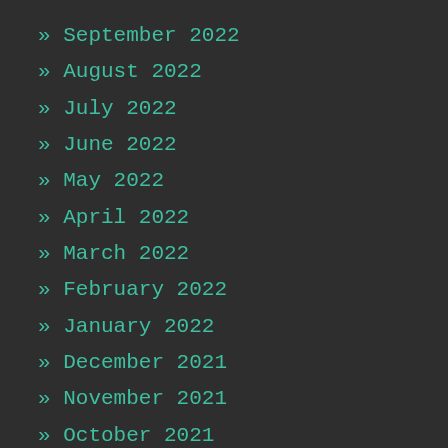» September 2022
» August 2022
» July 2022
» June 2022
» May 2022
» April 2022
» March 2022
» February 2022
» January 2022
» December 2021
» November 2021
» October 2021
» September 2021
» August 2021